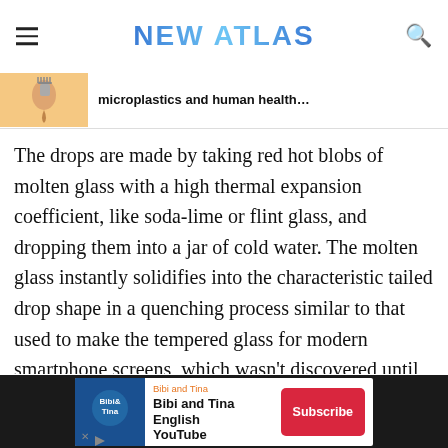NEW ATLAS
microplastics and human health…
The drops are made by taking red hot blobs of molten glass with a high thermal expansion coefficient, like soda-lime or flint glass, and dropping them into a jar of cold water. The molten glass instantly solidifies into the characteristic tailed drop shape in a quenching process similar to that used to make the tempered glass for modern smartphone screens, which wasn't discovered until the 19th century.
[Figure (infographic): Advertisement banner for Bibi and Tina English YouTube channel with Subscribe button]